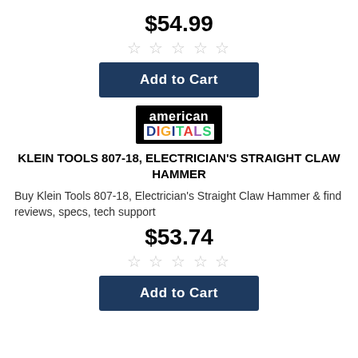$54.99
[Figure (other): Five empty star rating icons (gray outline)]
Add to Cart
[Figure (logo): American Digitals logo: black rectangle with 'american' in white and 'DIGITALS' in multicolor letters on white background]
KLEIN TOOLS 807-18, ELECTRICIAN'S STRAIGHT CLAW HAMMER
Buy Klein Tools 807-18, Electrician's Straight Claw Hammer & find reviews, specs, tech support
$53.74
[Figure (other): Five empty star rating icons (gray outline)]
Add to Cart